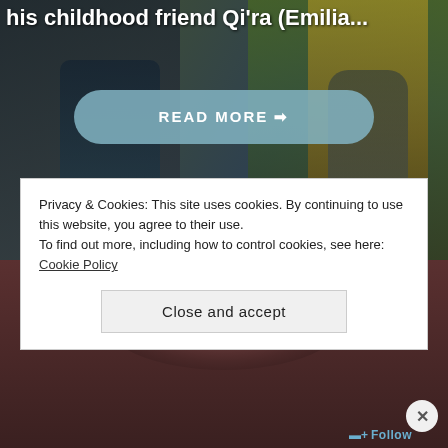his childhood friend Qi'ra (Emilia...
READ MORE →
[Figure (photo): Dark movie poster background with characters in action scene, greenish/blue tones]
[Figure (photo): Dark reddish movie poster background with partial title text PLAIN SIMPLE TOM visible]
PLAIN SIMPLE TOM
Privacy & Cookies: This site uses cookies. By continuing to use this website, you agree to their use.
To find out more, including how to control cookies, see here: Cookie Policy
Close and accept
Follow